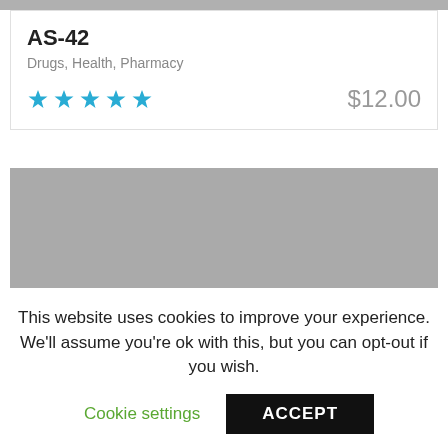AS-42
Drugs, Health, Pharmacy
★★★★★   $12.00
[Figure (photo): Gray placeholder image for product]
This website uses cookies to improve your experience. We'll assume you're ok with this, but you can opt-out if you wish.
Cookie settings   ACCEPT